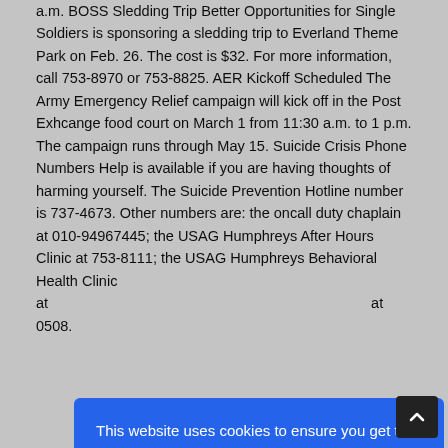a.m. BOSS Sledding Trip Better Opportunities for Single Soldiers is sponsoring a sledding trip to Everland Theme Park on Feb. 26. The cost is $32. For more information, call 753-8970 or 753-8825. AER Kickoff Scheduled The Army Emergency Relief campaign will kick off in the Post Exhcange food court on March 1 from 11:30 a.m. to 1 p.m. The campaign runs through May 15. Suicide Crisis Phone Numbers Help is available if you are having thoughts of harming yourself. The Suicide Prevention Hotline number is 737-4673. Other numbers are: the oncall duty chaplain at 010-94967445; the USAG Humphreys After Hours Clinic at 753-8111; the USAG Humphreys Behavioral Health Clinic at ... 0508.
[Figure (screenshot): Cookie consent overlay popup with blue background. Text reads: 'This website uses cookies to ensure you get the best experience on our website. Our partners will collect data and use cookies for ad personalization and measurement.' with a link 'Learn how we and our partners collect and use data.' and an OK button.]
sizes and ages taking Zumba classes in more than 90,000 locations in